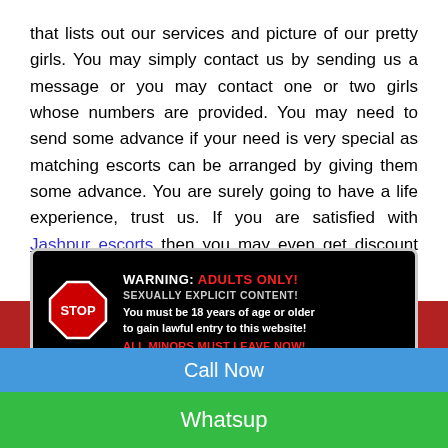that lists out our services and picture of our pretty girls. You may simply contact us by sending us a message or you may contact one or two girls whose numbers are provided. You may need to send some advance if your need is very special as matching escorts can be arranged by giving them some advance. You are surely going to have a life experience, trust us. If you are satisfied with Jashpur escorts then you may even get discount the next time you arrive in Jashpur
[Figure (infographic): Warning sign: ADULTS ONLY! Sexually explicit content. You must be 18 years of age or older to gain lawful entry to this website! ALL MINORS MUST LEAVE NOW! with a red STOP octagon sign on the left.]
: OUR ESCORT
AGRA ESCORTS
Call Now
Whatsup